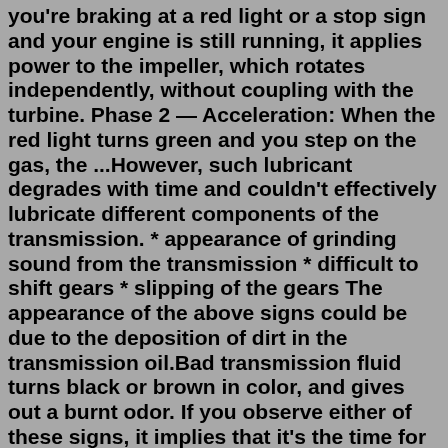you're braking at a red light or a stop sign and your engine is still running, it applies power to the impeller, which rotates independently, without coupling with the turbine. Phase 2 — Acceleration: When the red light turns green and you step on the gas, the ...However, such lubricant degrades with time and couldn't effectively lubricate different components of the transmission. * appearance of grinding sound from the transmission * difficult to shift gears * slipping of the gears The appearance of the above signs could be due to the deposition of dirt in the transmission oil.Bad transmission fluid turns black or brown in color, and gives out a burnt odor. If you observe either of these signs, it implies that it's the time for you to opt for fluid change. Driving with bad fluid is as bad as driving with low fluid and therefore, fluid change after regular intervals is equally important. Jul 26, 2021 · There are those people who prefer to change transmission fluid every 40,000-50,000 miles, but that can be considered wasteful and excessive if your car is in good working order. Again